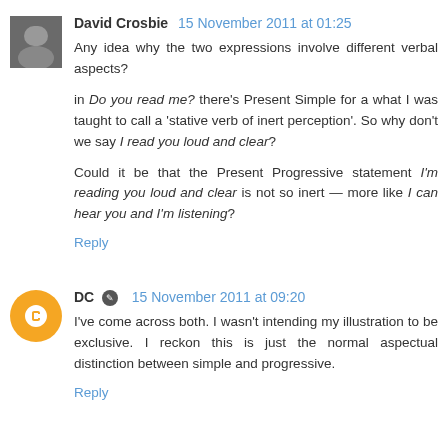David Crosbie  15 November 2011 at 01:25
Any idea why the two expressions involve different verbal aspects?

in Do you read me? there's Present Simple for a what I was taught to call a 'stative verb of inert perception'. So why don't we say I read you loud and clear?

Could it be that the Present Progressive statement I'm reading you loud and clear is not so inert — more like I can hear you and I'm listening?
Reply
DC  15 November 2011 at 09:20
I've come across both. I wasn't intending my illustration to be exclusive. I reckon this is just the normal aspectual distinction between simple and progressive.
Reply